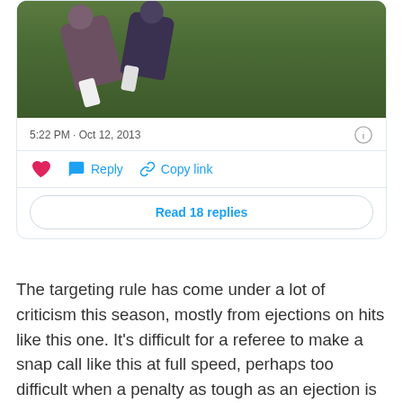[Figure (screenshot): Screenshot of a tweet showing a football player on a green field being tackled, with timestamp 5:22 PM · Oct 12, 2013, heart/reply/copy link action buttons, and a 'Read 18 replies' button]
The targeting rule has come under a lot of criticism this season, mostly from ejections on hits like this one. It's difficult for a referee to make a snap call like this at full speed, perhaps too difficult when a penalty as tough as an ejection is on the line.